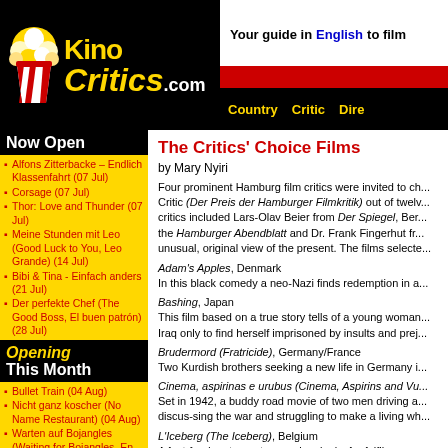KinoCritics.com — Your guide in English to film
The Critics' Choice Films
by Mary Nyiri
Four prominent Hamburg film critics were invited to choose the Hamburg Film Critic (Der Preis der Hamburger Filmkritik) out of twelve films. The critics included Lars-Olav Beier from Der Spiegel, Bernd... the Hamburger Abendblatt and Dr. Frank Fingerhut fr... unusual, original view of the present. The films selected...
Alfons Zitterbacke – Endlich Klassenfahrt (07 Jul)
Corsage (07 Jul)
Thor: Love and Thunder (07 Jul)
Meine Stunden mit Leo (Good Luck to You, Leo Grande) (14 Jul)
Bibi & Tina - Einfach anders (21 Jul)
Der perfekte Chef (The Good Boss, El buen patrón) (28 Jul)
Bullet Train (04 Aug)
Nicht ganz koscher (No Name Restaurant) (04 Aug)
Warten auf Bojangles (Waiting for Bojangles, En attendant Bojangles) (04 Aug)
Alcarràs - Die letzte Ernte (Alcarràs) (11 Aug)
Adam's Apples, Denmark
In this black comedy a neo-Nazi finds redemption in a...
Bashing, Japan
This film based on a true story tells of a young woman... Iraq only to find herself imprisoned by insults and prej...
Brudermord (Fratricide), Germany/France
Two Kurdish brothers seeking a new life in Germany i...
Cinema, aspirinas e urubus (Cinema, Aspirins and Vu...
Set in 1942, a buddy road movie of two men driving a... discus-sing the war and struggling to make a living wh...
L'Iceberg (The Iceberg), Belgium
A fast-food restaurant supervisor looks for fulfilment...